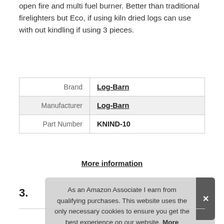open fire and multi fuel burner. Better than traditional firelighters but Eco, if using kiln dried logs can use with out kindling if using 3 pieces.
| Brand | Log-Barn |
| Manufacturer | Log-Barn |
| Part Number | KNIND-10 |
More information
3.
As an Amazon Associate I earn from qualifying purchases. This website uses the only necessary cookies to ensure you get the best experience on our website. More information